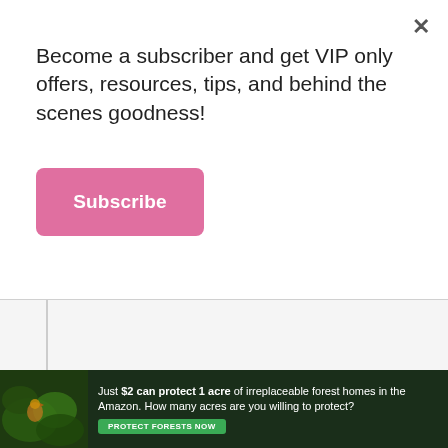Become a subscriber and get VIP only offers, resources, tips, and behind the scenes goodness!
Subscribe
[Figure (screenshot): Close button (×) in top-right corner of popup modal]
[Figure (infographic): Advertisement banner: 'Just $2 can protect 1 acre of irreplaceable forest homes in the Amazon. How many acres are you willing to protect?' with a green PROTECT FORESTS NOW button and forest imagery on the left.]